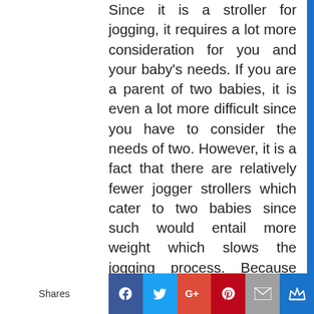Since it is a stroller for jogging, it requires a lot more consideration for you and your baby's needs. If you are a parent of two babies, it is even a lot more difficult since you have to consider the needs of two. However, it is a fact that there are relatively fewer jogger strollers which cater to two babies since such would entail more weight which slows the jogging process. Because bringing two strollers may be an inconvenience, you may wish to try a baby double stroller which is solely intended for parents with two children. Many manufacturers have developed innovations to such
Shares | Facebook | Twitter | G+ | Pinterest | Email | Crown